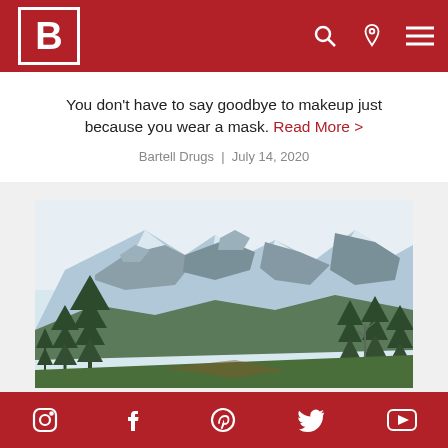Bartell Drugs - header with logo B and navigation icons
You don't have to say goodbye to makeup just because you wear a mask. Read More >
Bartell Drugs  |  July 14, 2020
[Figure (photo): Mountain landscape with snow-capped rocky peaks and evergreen trees in the foreground]
Social media icons: Instagram, Facebook, Pinterest, Twitter, YouTube